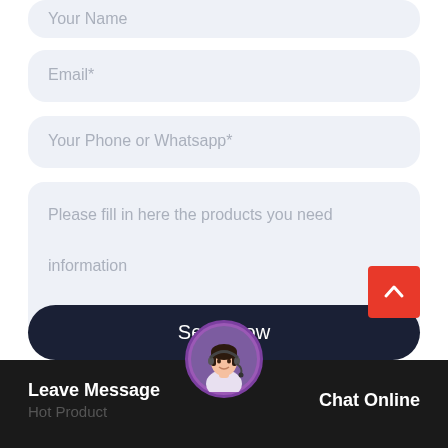Your Name
Email*
Your Phone or Whatsapp*
Please fill in here the products you need

information
Send Now
Leave Message
Hot Product
Chat Online